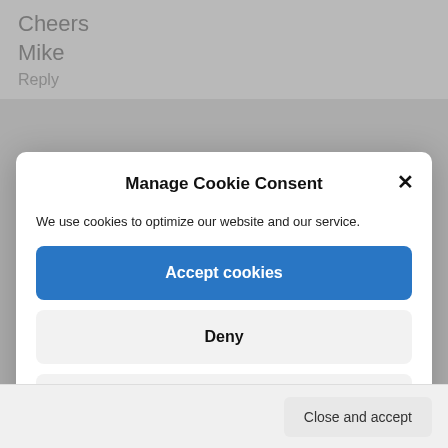Cheers
Mike
Reply
Manage Cookie Consent
We use cookies to optimize our website and our service.
Accept cookies
Deny
View preferences
Cookie Policy   Privacy Statement   About
Close and accept